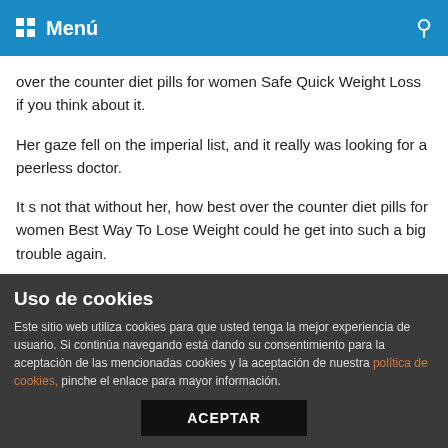Menú
over the counter diet pills for women Safe Quick Weight Loss if you think about it.
Her gaze fell on the imperial list, and it really was looking for a peerless doctor.
It s not that without her, how best over the counter diet pills for women Best Way To Lose Weight could he get into such a big trouble again.
Xinyi said 23 1 fast weight loss Low Price such a long series of words, a little panicked, but on best over the counter diet pills for women How To Lose Weight the other hand, Bu Feiyan is still His complexion best over the counter diet pills for women Diet Pill was calm.
Uso de cookies
Este sitio web utiliza cookies para que usted tenga la mejor experiencia de usuario. Si continúa navegando está dando su consentimiento para la aceptación de las mencionadas cookies y la aceptación de nuestra política de cookies, pinche el enlace para mayor información.